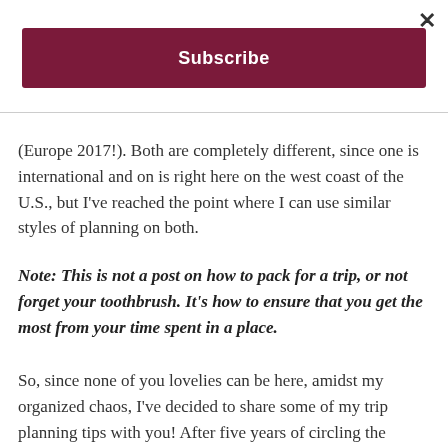[Figure (other): Close (X) button in top right corner of modal overlay]
[Figure (other): Dark red/maroon Subscribe button bar]
(Europe 2017!). Both are completely different, since one is international and on is right here on the west coast of the U.S., but I've reached the point where I can use similar styles of planning on both.
Note: This is not a post on how to pack for a trip, or not forget your toothbrush. It's how to ensure that you get the most from your time spent in a place.
So, since none of you lovelies can be here, amidst my organized chaos, I've decided to share some of my trip planning tips with you! After five years of circling the globe,